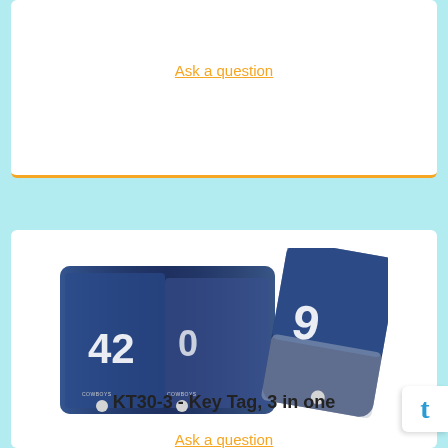Ask a question
[Figure (photo): Product photo showing Dallas Cowboys NFL key tags - three key tag cards featuring football players wearing navy blue jerseys with numbers 42, 0, and 9. Two cards shown flat and one card tilted at an angle.]
KT30-3 - Key Tag, 3 in one
Ask a question